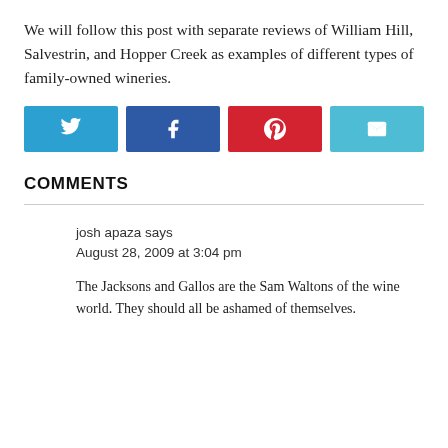We will follow this post with separate reviews of William Hill, Salvestrin, and Hopper Creek as examples of different types of family-owned wineries.
[Figure (other): Social share buttons: Twitter (blue), Facebook (dark blue), Pinterest (red), Email (light blue)]
COMMENTS
josh apaza says
August 28, 2009 at 3:04 pm
The Jacksons and Gallos are the Sam Waltons of the wine world. They should all be ashamed of themselves.